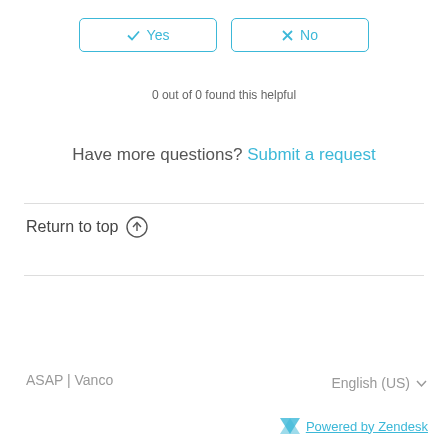[Figure (other): Yes and No feedback buttons with checkmark and X icons, styled in light blue]
0 out of 0 found this helpful
Have more questions? Submit a request
Return to top ↑
ASAP | Vanco   English (US)   Powered by Zendesk